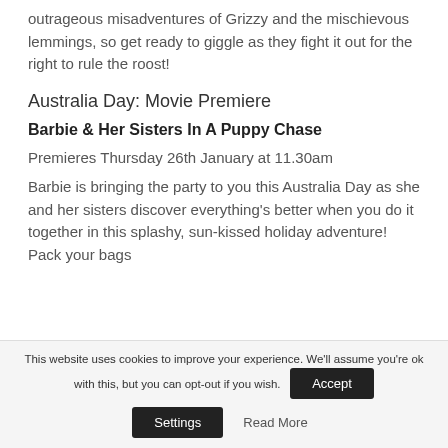outrageous misadventures of Grizzy and the mischievous lemmings, so get ready to giggle as they fight it out for the right to rule the roost!
Australia Day: Movie Premiere
Barbie & Her Sisters In A Puppy Chase
Premieres Thursday 26th January at 11.30am
Barbie is bringing the party to you this Australia Day as she and her sisters discover everything's better when you do it together in this splashy, sun-kissed holiday adventure! Pack your bags
This website uses cookies to improve your experience. We'll assume you're ok with this, but you can opt-out if you wish.